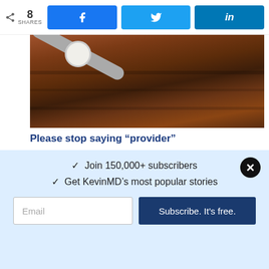8 SHARES | Facebook | Twitter | LinkedIn
[Figure (photo): Close-up photo of a stethoscope on a wooden surface with a white round element visible]
Please stop saying “provider”
SUSAN J. BAUMGAERTEL, MD | PHYSICIAN
[Figure (photo): Photo of a doctor in white coat holding a stethoscope]
✓  Join 150,000+ subscribers
✓  Get KevinMD’s most popular stories
Email  |  Subscribe. It’s free.